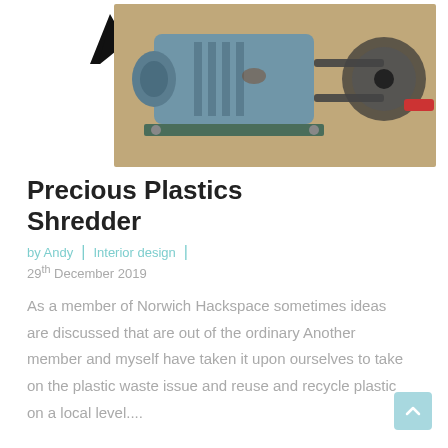Mendham Maker
[Figure (photo): Photograph of a blue electric motor mounted on a wooden board with a chain drive mechanism, used as part of a plastic shredder build.]
Precious Plastics Shredder
by Andy | Interior design | 29th December 2019
As a member of Norwich Hackspace sometimes ideas are discussed that are out of the ordinary Another member and myself have taken it upon ourselves to take on the plastic waste issue and reuse and recycle plastic on a local level....